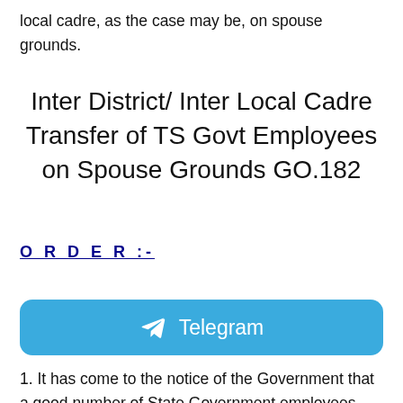local cadre, as the case may be, on spouse grounds.
Inter District/ Inter Local Cadre Transfer of TS Govt Employees on Spouse Grounds GO.182
O R D E R :-
[Figure (other): Telegram button/banner with Telegram logo icon and text 'Telegram']
1. It has come to the notice of the Government that a good number of State Government employees whose spouses are working in different places in the State Government, Local